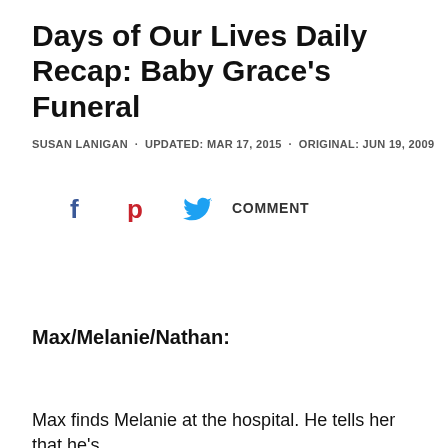Days of Our Lives Daily Recap: Baby Grace's Funeral
SUSAN LANIGAN · UPDATED: MAR 17, 2015 · ORIGINAL: JUN 19, 2009
[Figure (infographic): Social sharing icons: Facebook (blue f), Pinterest (red P), Twitter (blue bird), and COMMENT label]
Max/Melanie/Nathan:
Max finds Melanie at the hospital. He tells her that he's